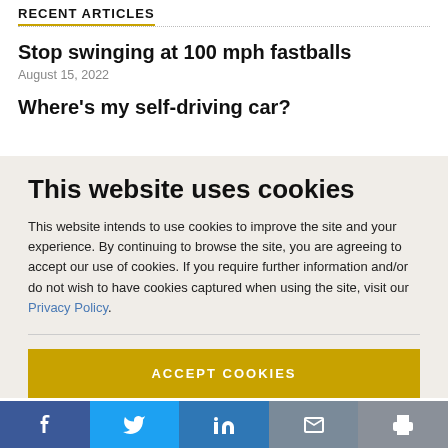RECENT ARTICLES
Stop swinging at 100 mph fastballs
August 15, 2022
Where's my self-driving car?
This website uses cookies
This website intends to use cookies to improve the site and your experience. By continuing to browse the site, you are agreeing to accept our use of cookies. If you require further information and/or do not wish to have cookies captured when using the site, visit our Privacy Policy.
ACCEPT COOKIES
[Figure (other): Social sharing bar with Facebook, Twitter, LinkedIn, Email, and Print icons]